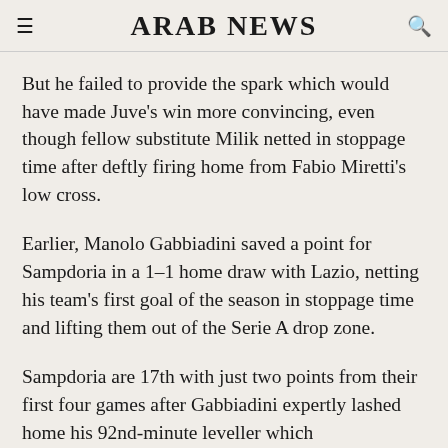ARAB NEWS
But he failed to provide the spark which would have made Juve's win more convincing, even though fellow substitute Milik netted in stoppage time after deftly firing home from Fabio Miretti's low cross.
Earlier, Manolo Gabbiadini saved a point for Sampdoria in a 1-1 home draw with Lazio, netting his team's first goal of the season in stoppage time and lifting them out of the Serie A drop zone.
Sampdoria are 17th with just two points from their first four games after Gabbiadini expertly lashed home his 92nd-minute leveller which